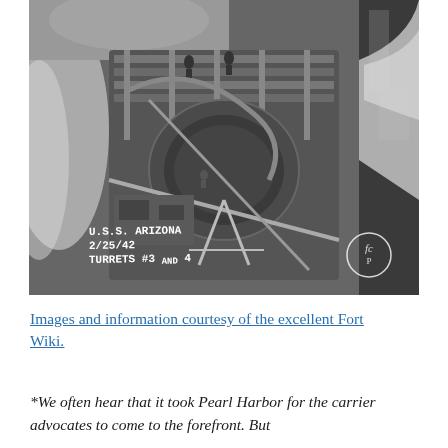[Figure (photo): Black and white aerial/overhead photograph of USS Arizona battleship turrets, labeled 'U.S.S. ARIZONA 2/25/42 TURRETS #3 AND 4' in white handwritten text in the lower left. A circular watermark logo appears in the lower right corner. Workers/figures are visible on the deck structure.]
Images and information courtesy of the excellent Fort Wiki.
*We often hear that it took Pearl Harbor for the carrier advocates to come to the forefront. But